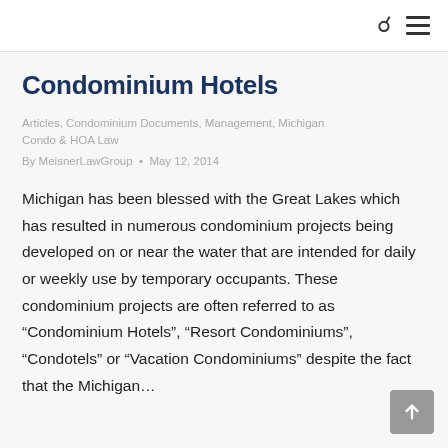Condominium Hotels
Articles, Condominium Documents, Management, Michigan Condo & HOA Law
By MeisnerLawGroup · May 12, 2014
Michigan has been blessed with the Great Lakes which has resulted in numerous condominium projects being developed on or near the water that are intended for daily or weekly use by temporary occupants. These condominium projects are often referred to as “Condominium Hotels”, “Resort Condominiums”, “Condotels” or “Vacation Condominiums” despite the fact that the Michigan…